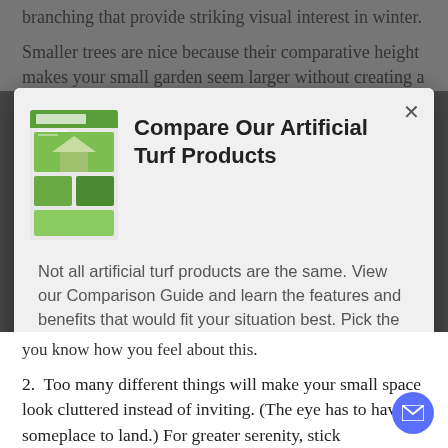branching that provide striking visual interest in winter.
Smaller trees are nice because their comparative height makes your small garden seem larger without creating a
[Figure (screenshot): Modal popup advertising artificial turf products with an image of a brochure, bold title 'Compare Our Artificial Turf Products', descriptive text, and a blue 'View Our Guide Now' button.]
you know how you feel about this.
2. Too many different things will make your small space look cluttered instead of inviting. (The eye has to have someplace to land.) For greater serenity, stick